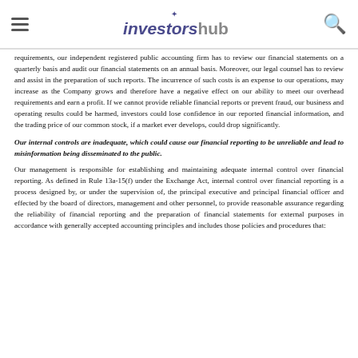investorshub
requirements, our independent registered public accounting firm has to review our financial statements on a quarterly basis and audit our financial statements on an annual basis. Moreover, our legal counsel has to review and assist in the preparation of such reports. The incurrence of such costs is an expense to our operations, may increase as the Company grows and therefore have a negative effect on our ability to meet our overhead requirements and earn a profit. If we cannot provide reliable financial reports or prevent fraud, our business and operating results could be harmed, investors could lose confidence in our reported financial information, and the trading price of our common stock, if a market ever develops, could drop significantly.
Our internal controls are inadequate, which could cause our financial reporting to be unreliable and lead to misinformation being disseminated to the public.
Our management is responsible for establishing and maintaining adequate internal control over financial reporting. As defined in Rule 13a-15(f) under the Exchange Act, internal control over financial reporting is a process designed by, or under the supervision of, the principal executive and principal financial officer and effected by the board of directors, management and other personnel, to provide reasonable assurance regarding the reliability of financial reporting and the preparation of financial statements for external purposes in accordance with generally accepted accounting principles and includes those policies and procedures that: